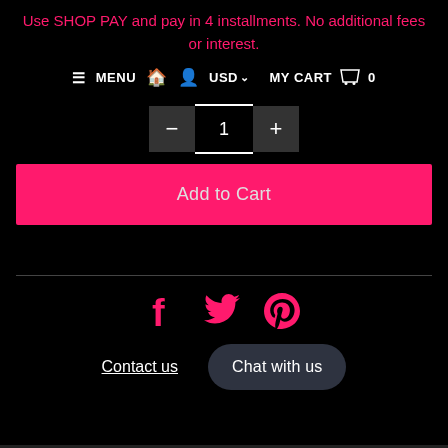Use SHOP PAY and pay in 4 installments. No additional fees or interest.
≡ MENU  🏠  👤  USD ∨  MY CART  🛍  0
- 1 +
Add to Cart
[Figure (other): Social media icons: Facebook (f), Twitter (bird), Pinterest (P) in pink]
Contact us    Chat with us